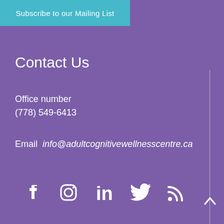Subscribe to our Mailing List
Contact Us
Office number
(778) 549-6413
Email  info@adultcognitivewellnesscentre.ca
[Figure (other): Social media icons: Facebook, Instagram, LinkedIn, Twitter, RSS feed. A scroll-to-top arrow is in the bottom right.]